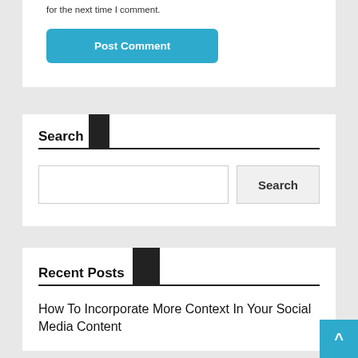for the next time I comment.
[Figure (screenshot): Blue 'Post Comment' button]
Search
[Figure (screenshot): Search input field and Search button]
Recent Posts
How To Incorporate More Context In Your Social Media Content